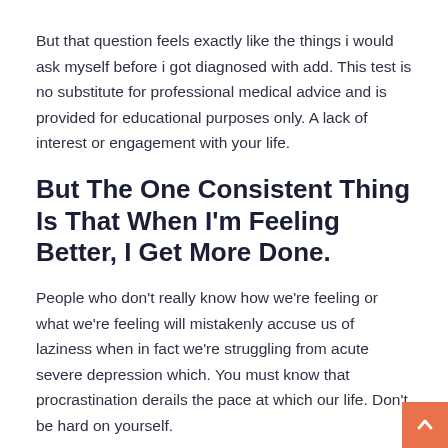But that question feels exactly like the things i would ask myself before i got diagnosed with add. This test is no substitute for professional medical advice and is provided for educational purposes only. A lack of interest or engagement with your life.
But The One Consistent Thing Is That When I'm Feeling Better, I Get More Done.
People who don't really know how we're feeling or what we're feeling will mistakenly accuse us of laziness when in fact we're struggling from acute severe depression which. You must know that procrastination derails the pace at which our life. Don't be hard on yourself.